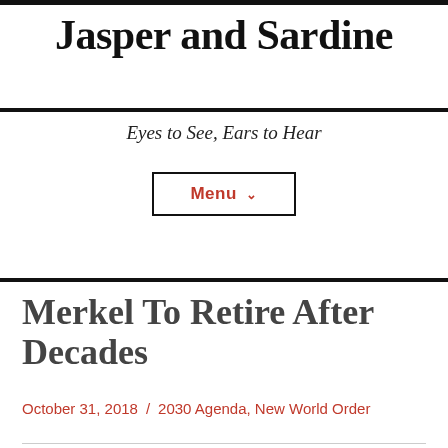Jasper and Sardine
Eyes to See, Ears to Hear
Menu ∨
Merkel To Retire After Decades
October 31, 2018 / 2030 Agenda, New World Order